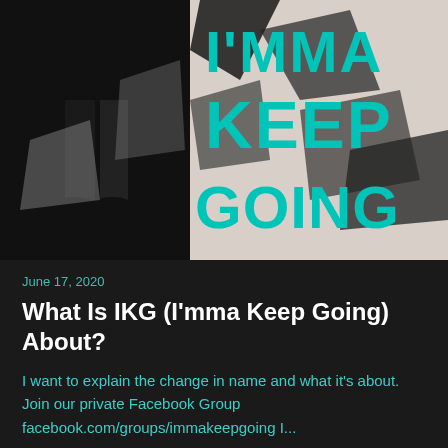[Figure (photo): Black and white image of a person's legs/feet with large teal text overlay reading I'MMA KEEP GOING on a graffiti-style background]
June 17, 2020
What Is IKG (I'mma Keep Going) About?
I want to explain the change in name and what it's about. Join our private Facebook Group facebook.com/groups/immakeepgoing I...
→ Episode page